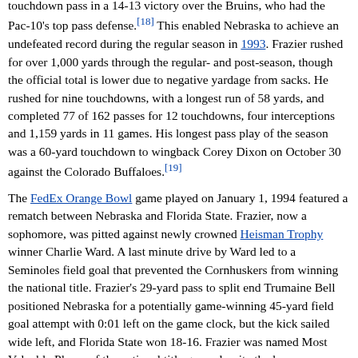touchdown pass in a 14-13 victory over the Bruins, who had the Pac-10's top pass defense.[18] This enabled Nebraska to achieve an undefeated record during the regular season in 1993. Frazier rushed for over 1,000 yards through the regular- and post-season, though the official total is lower due to negative yardage from sacks. He rushed for nine touchdowns, with a longest run of 58 yards, and completed 77 of 162 passes for 12 touchdowns, four interceptions and 1,159 yards in 11 games. His longest pass play of the season was a 60-yard touchdown to wingback Corey Dixon on October 30 against the Colorado Buffaloes.[19]
The FedEx Orange Bowl game played on January 1, 1994 featured a rematch between Nebraska and Florida State. Frazier, now a sophomore, was pitted against newly crowned Heisman Trophy winner Charlie Ward. A last minute drive by Ward led to a Seminoles field goal that prevented the Cornhuskers from winning the national title. Frazier's 29-yard pass to split end Trumaine Bell positioned Nebraska for a potentially game-winning 45-yard field goal attempt with 0:01 left on the game clock, but the kick sailed wide left, and Florida State won 18-16. Frazier was named Most Valuable Player of the national title game despite the loss, completing 13 of 24 passes for 206 yards and a 34-yard touchdown, and rushing 14 times for 77 yards with a 32-yard run.[20] The Cornhuskers finished the season with an 11-1 record.